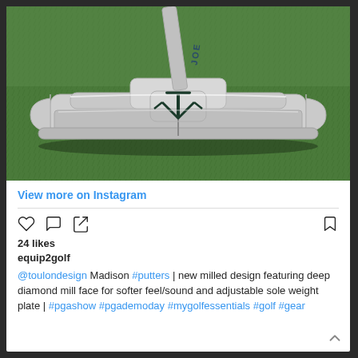[Figure (photo): Close-up photo of a silver Toulon Design Madison putter against green grass background. The putter has a 'T' logo on the face and text 'JOE' on the shaft.]
View more on Instagram
24 likes
equip2golf
@toulondesign Madison #putters | new milled design featuring deep diamond mill face for softer feel/sound and adjustable sole weight plate | #pgashow #pgademoday #mygolfessentials #golf #gear